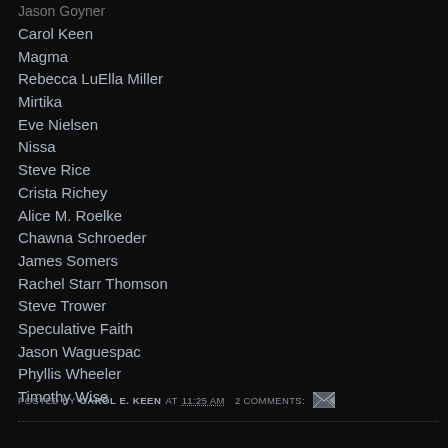Carol Keen
Magma
Rebecca LuElla Miller
Mirtika
Eve Nielsen
Nissa
Steve Rice
Crista Richey
Alice M. Roelke
Chawna Schroeder
James Somers
Rachel Starr Thomson
Steve Trower
Speculative Faith
Jason Waguespac
Phyllis Wheeler
Timothy Wise
POSTED BY CAROL E. KEEN AT 11:25 AM  2 COMMENTS: